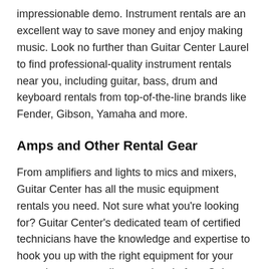impressionable demo. Instrument rentals are an excellent way to save money and enjoy making music. Look no further than Guitar Center Laurel to find professional-quality instrument rentals near you, including guitar, bass, drum and keyboard rentals from top-of-the-line brands like Fender, Gibson, Yamaha and more.
Amps and Other Rental Gear
From amplifiers and lights to mics and mixers, Guitar Center has all the music equipment rentals you need. Not sure what you're looking for? Guitar Center's dedicated team of certified technicians have the knowledge and expertise to hook you up with the right equipment for your next show or recording session. In fact, Guitar Center not only offers sound and stage equipment rentals, but our professionals will even walk you through how to set up and use it,